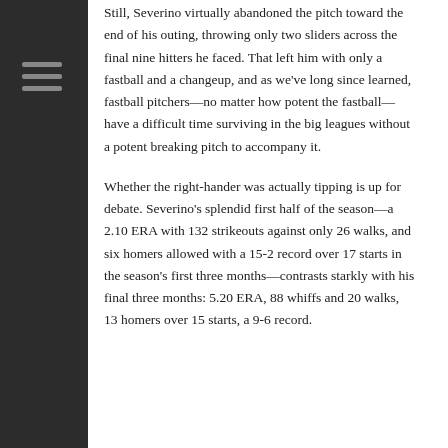Still, Severino virtually abandoned the pitch toward the end of his outing, throwing only two sliders across the final nine hitters he faced. That left him with only a fastball and a changeup, and as we've long since learned, fastball pitchers—no matter how potent the fastball—have a difficult time surviving in the big leagues without a potent breaking pitch to accompany it.
Whether the right-hander was actually tipping is up for debate. Severino's splendid first half of the season—a 2.10 ERA with 132 strikeouts against only 26 walks, and six homers allowed with a 15-2 record over 17 starts in the season's first three months—contrasts starkly with his final three months: 5.20 ERA, 88 whiffs and 20 walks, 13 homers over 15 starts, a 9-6 record.